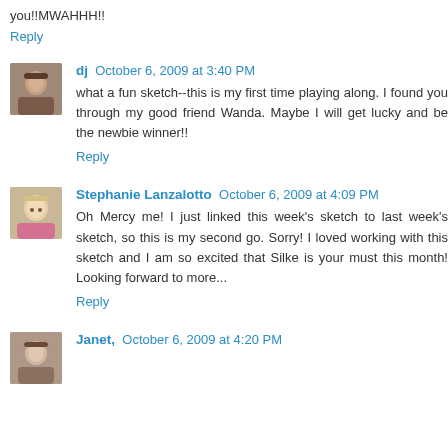you!!MWAHHH!!
Reply
dj  October 6, 2009 at 3:40 PM
what a fun sketch--this is my first time playing along. I found you through my good friend Wanda. Maybe I will get lucky and be the newbie winner!!
Reply
Stephanie Lanzalotto  October 6, 2009 at 4:09 PM
Oh Mercy me! I just linked this week's sketch to last week's sketch, so this is my second go. Sorry! I loved working with this sketch and I am so excited that Silke is your must this month! Looking forward to more...
Reply
Janet,  October 6, 2009 at 4:20 PM